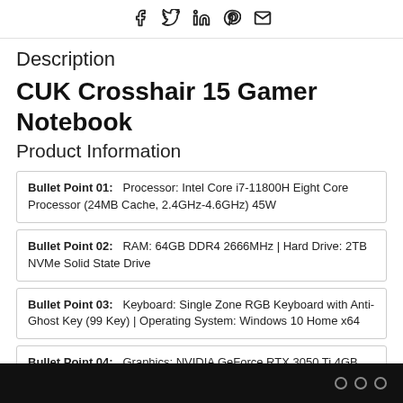Social share icons: Facebook, Twitter, LinkedIn, Pinterest, Email
Description
CUK Crosshair 15 Gamer Notebook
Product Information
Bullet Point 01: Processor: Intel Core i7-11800H Eight Core Processor (24MB Cache, 2.4GHz-4.6GHz) 45W
Bullet Point 02: RAM: 64GB DDR4 2666MHz | Hard Drive: 2TB NVMe Solid State Drive
Bullet Point 03: Keyboard: Single Zone RGB Keyboard with Anti-Ghost Key (99 Key) | Operating System: Windows 10 Home x64
Bullet Point 04: Graphics: NVIDIA GeForce RTX 3050 Ti 4GB GDDR6 | Display: 15.6" Full HD IPS-Level 144Hz 72%NTSC Display (1920 x 1080)